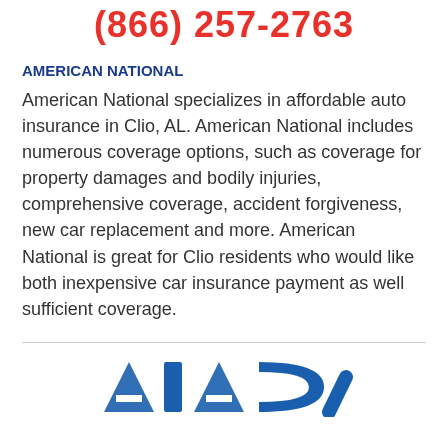(866) 257-2763
AMERICAN NATIONAL
American National specializes in affordable auto insurance in Clio, AL. American National includes numerous coverage options, such as coverage for property damages and bodily injuries, comprehensive coverage, accident forgiveness, new car replacement and more. American National is great for Clio residents who would like both inexpensive car insurance payment as well sufficient coverage.
[Figure (logo): AIPCA logo partially visible at bottom of page]